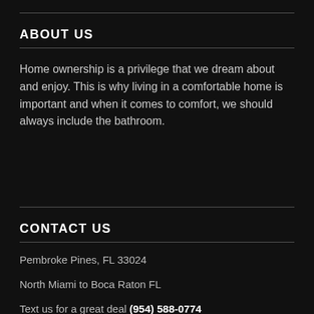ABOUT US
Home ownership is a privilege that we dream about and enjoy. This is why living in a comfortable home is important and when it comes to comfort, we should always include the bathroom.
CONTACT US
Pembroke Pines, FL 33024
North Miami to Boca Raton FL
Text us for a great deal (954) 588-0774